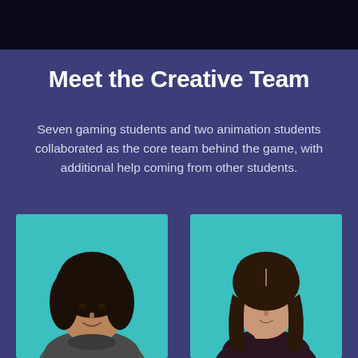Meet the Creative Team
Seven gaming students and two animation students collaborated as the core team behind the game, with additional help coming from other students.
[Figure (photo): Headshot of a young male student with medium-length dark hair, smiling, against a teal background, wearing a grey sweater.]
[Figure (photo): Headshot of a young female student with long dark wavy hair, smiling slightly, against a teal background, wearing a dark sheer top.]